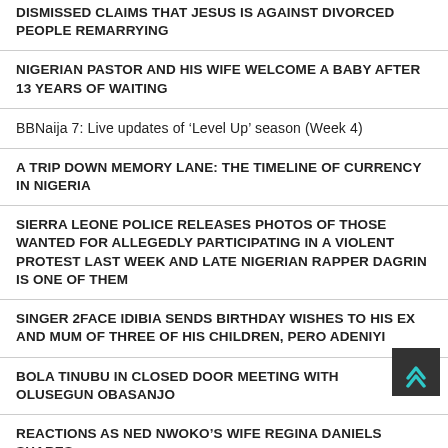DISMISSED CLAIMS THAT JESUS IS AGAINST DIVORCED PEOPLE REMARRYING
NIGERIAN PASTOR AND HIS WIFE WELCOME A BABY AFTER 13 YEARS OF WAITING
BBNaija 7: Live updates of ‘Level Up’ season (Week 4)
A TRIP DOWN MEMORY LANE: THE TIMELINE OF CURRENCY IN NIGERIA
SIERRA LEONE POLICE RELEASES PHOTOS OF THOSE WANTED FOR ALLEGEDLY PARTICIPATING IN A VIOLENT PROTEST LAST WEEK AND LATE NIGERIAN RAPPER DAGRIN IS ONE OF THEM
SINGER 2FACE IDIBIA SENDS BIRTHDAY WISHES TO HIS EX AND MUM OF THREE OF HIS CHILDREN, PERO ADENIYI
BOLA TINUBU IN CLOSED DOOR MEETING WITH OLUSEGUN OBASANJO
REACTIONS AS NED NWOKO’S WIFE REGINA DANIELS SHARES